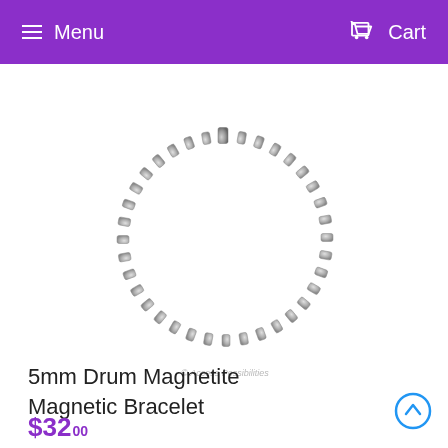Menu  Cart
[Figure (photo): A round magnetic bracelet made of small drum-shaped magnetite beads in silver/grey color, arranged in a circle with a rectangular clasp at the top. Watermark reads '© Access Possibilities'.]
© Access Possibilities
5mm Drum Magnetite Magnetic Bracelet
$32.00